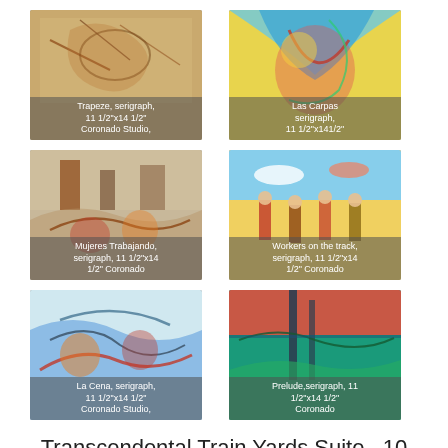[Figure (photo): Trapeze, serigraph, 11 1/2"x14 1/2" Coronado Studio]
[Figure (photo): Las Carpas, serigraph, 11 1/2"x14 1/2"]
[Figure (photo): Mujeres Trabajando, serigraph, 11 1/2"x14 1/2" Coronado]
[Figure (photo): Workers on the track, serigraph, 11 1/2"x14 1/2" Coronado]
[Figure (photo): La Cena, serigraph, 11 1/2"x14 1/2" Coronado Studio]
[Figure (photo): Prelude, serigraph, 11 1/2"x14 1/2" Coronado]
Transcendental Train Yards Suite , 10 prints and canvas printed at Coronado
Transcendental Train Yards Suite , 10 prints and canvas printed at Coronado